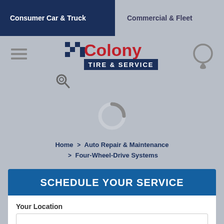Consumer Car & Truck | Commercial & Fleet
[Figure (logo): Colony Tire & Service logo with checkered flag pattern, red and navy blue text]
Home > Auto Repair & Maintenance > Four-Wheel-Drive Systems
SCHEDULE YOUR SERVICE
Your Location